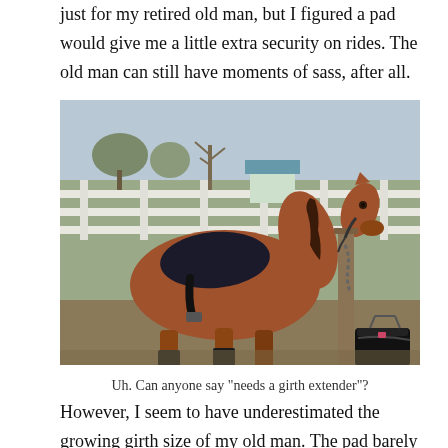just for my retired old man, but I figured a pad would give me a little extra security on rides. The old man can still have moments of sass, after all.
[Figure (photo): A chestnut horse with a black saddle pad and girth, tied to a wooden post in a fenced paddock. A black bag sits on the ground near the post. The horse is wearing black leg wraps on the lower legs.]
Uh. Can anyone say "needs a girth extender"?
However, I seem to have underestimated the growing girth size of my old man. The pad barely fits around him, and is on the last hole on both sides. I think it will work, but I'm considering finding a different option for him. In